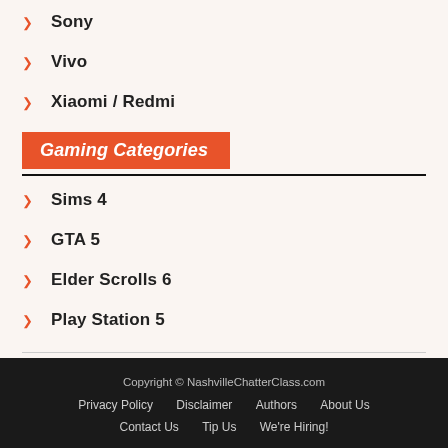Sony
Vivo
Xiaomi / Redmi
Gaming Categories
Sims 4
GTA 5
Elder Scrolls 6
Play Station 5
Copyright © NashvilleChatterClass.com  Privacy Policy  Disclaimer  Authors  About Us  Contact Us  Tip Us  We're Hiring!